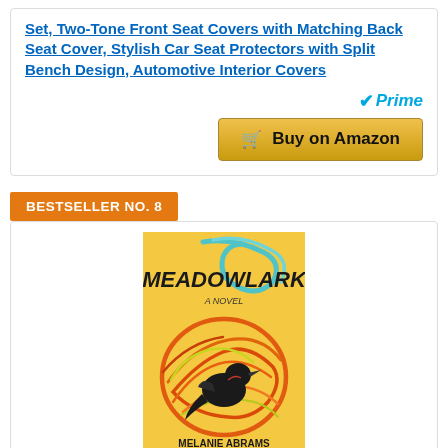Set, Two-Tone Front Seat Covers with Matching Back Seat Cover, Stylish Car Seat Protectors with Split Bench Design, Automotive Interior Covers
[Figure (logo): Amazon Prime badge with checkmark and 'Prime' text in blue italic]
[Figure (other): Buy on Amazon button with shopping cart icon, gold/yellow gradient background]
BESTSELLER NO. 8
[Figure (photo): Book cover of 'Meadowlark: A Novel' by Melanie Abrams. Yellow background with colorful bird nest illustration and a black bird. Red, orange, and teal swirling branch designs.]
Meadowlark: A Novel